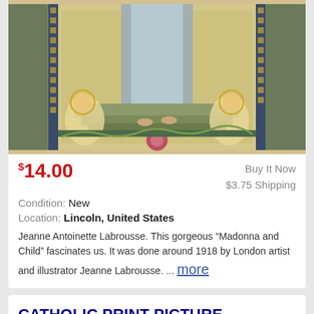[Figure (photo): Partial religious painting showing a Madonna and Child artwork by Jeanne Antoinette Labrousse, approximately 1918. Shows robes, angels kneeling on both sides, ornate mosaic-style background with gold and green patterns.]
$14.00
Buy It Now
$3.75 Shipping
Condition: New
Location: Lincoln, United States
Jeanne Antoinette Labrousse. This gorgeous “Madonna and Child” fascinates us. It was done around 1918 by London artist and illustrator Jeanne Labrousse. ... more
CATHOLIC PRINT PICTURE- ST. JOHN OF BOSCO V - 8" X 10" READY TO BE FRAMED
[Figure (photo): Partial view of a second religious print product image, cropped at bottom of page.]